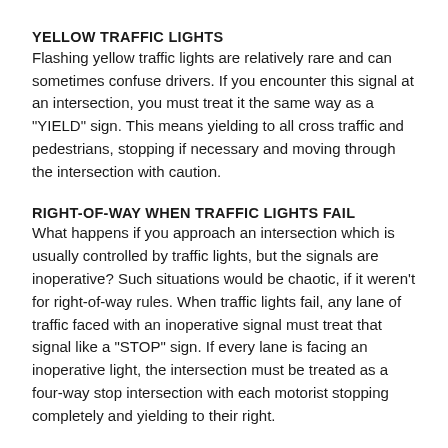YELLOW TRAFFIC LIGHTS
Flashing yellow traffic lights are relatively rare and can sometimes confuse drivers. If you encounter this signal at an intersection, you must treat it the same way as a "YIELD" sign. This means yielding to all cross traffic and pedestrians, stopping if necessary and moving through the intersection with caution.
RIGHT-OF-WAY WHEN TRAFFIC LIGHTS FAIL
What happens if you approach an intersection which is usually controlled by traffic lights, but the signals are inoperative? Such situations would be chaotic, if it weren't for right-of-way rules. When traffic lights fail, any lane of traffic faced with an inoperative signal must treat that signal like a "STOP" sign. If every lane is facing an inoperative light, the intersection must be treated as a four-way stop intersection with each motorist stopping completely and yielding to their right.